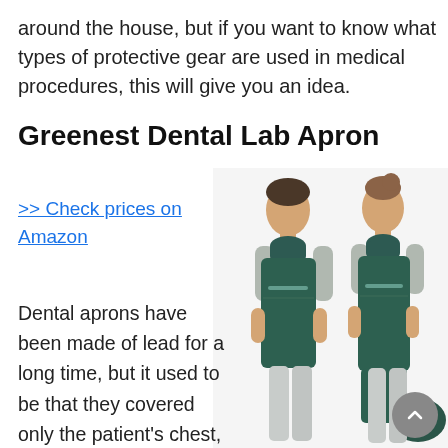around the house, but if you want to know what types of protective gear are used in medical procedures, this will give you an idea.
Greenest Dental Lab Apron
>> Check prices on Amazon
[Figure (photo): Two people (a man and a woman) wearing dark green/teal dental lead aprons with neck collars, shown from the front against a white background.]
Dental aprons have been made of lead for a long time, but it used to be that they covered only the patient's chest, abdomen, and lap.